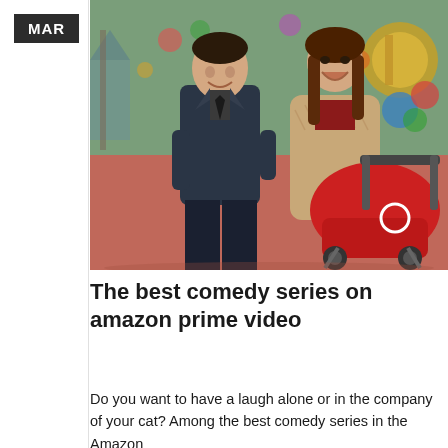MAR
[Figure (photo): A man in a dark coat and a woman in a fur coat pushing a red stroller at an amusement park or fairground setting. Both are smiling.]
The best comedy series on amazon prime video
Do you want to have a laugh alone or in the company of your cat? Among the best comedy series in the Amazon